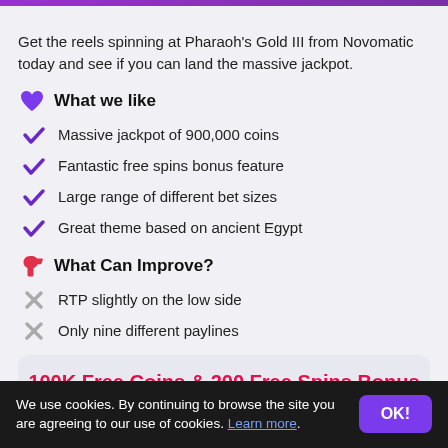Get the reels spinning at Pharaoh's Gold III from Novomatic today and see if you can land the massive jackpot.
What we like
Massive jackpot of 900,000 coins
Fantastic free spins bonus feature
Large range of different bet sizes
Great theme based on ancient Egypt
What Can Improve?
RTP slightly on the low side
Only nine different paylines
100K Free Coins & 200 Free Spins Bonus with
We use cookies. By continuing to browse the site you are agreeing to our use of cookies. Learn more.